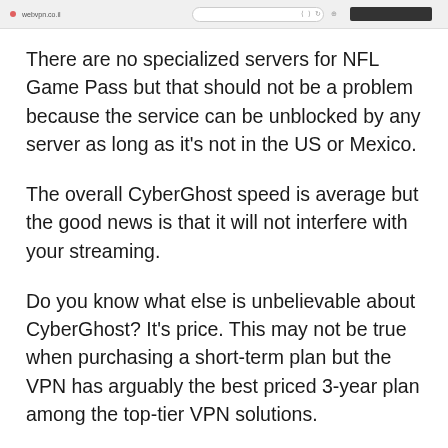[Figure (screenshot): Browser tab/toolbar screenshot strip at the top of the page showing URL bar and interface elements]
There are no specialized servers for NFL Game Pass but that should not be a problem because the service can be unblocked by any server as long as it's not in the US or Mexico.
The overall CyberGhost speed is average but the good news is that it will not interfere with your streaming.
Do you know what else is unbelievable about CyberGhost? It's price. This may not be true when purchasing a short-term plan but the VPN has arguably the best priced 3-year plan among the top-tier VPN solutions.
You would not even believe that it's currently the